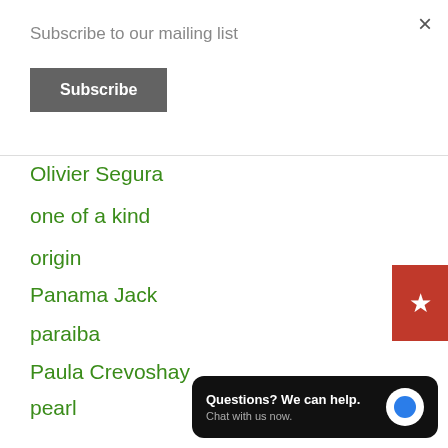×
Subscribe to our mailing list
Subscribe
Olivier Segura
one of a kind
origin
Panama Jack
paraiba
Paula Crevoshay
pearl
Photography
photomicrography
Phuket
Phuket Khunaprapakorn
[Figure (other): Red tab with star icon on right side]
Questions? We can help. Chat with us now.